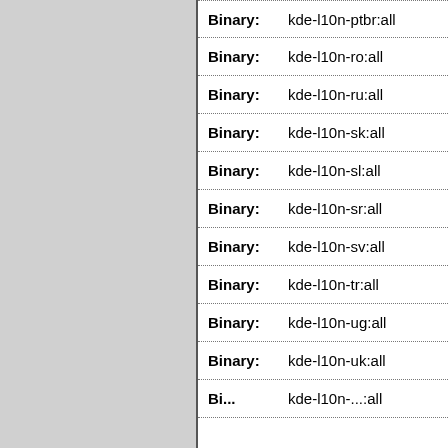| Type | Package |
| --- | --- |
| Binary: | kde-l10n-ptbr:all |
| Binary: | kde-l10n-ro:all |
| Binary: | kde-l10n-ru:all |
| Binary: | kde-l10n-sk:all |
| Binary: | kde-l10n-sl:all |
| Binary: | kde-l10n-sr:all |
| Binary: | kde-l10n-sv:all |
| Binary: | kde-l10n-tr:all |
| Binary: | kde-l10n-ug:all |
| Binary: | kde-l10n-uk:all |
| Binary: | kde-l10n-...:all |